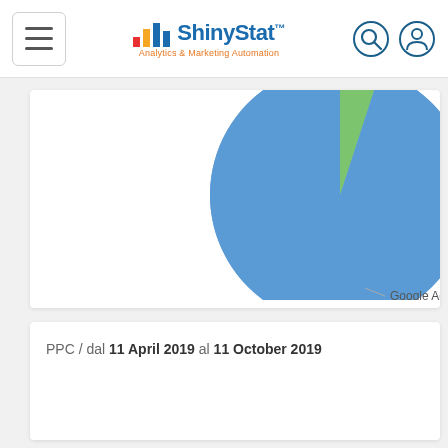ShinyyStat Analytics & Marketing Automation
[Figure (pie-chart): Google Ads]
PPC / dal 11 April 2019 al 11 October 2019